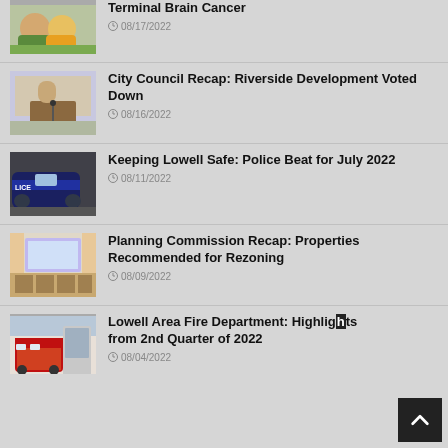[Figure (photo): Family photo on grass — partially cropped at top]
Terminal Brain Cancer
08/17/2022
[Figure (photo): Man speaking at podium in meeting room]
City Council Recap: Riverside Development Voted Down
08/16/2022
[Figure (photo): Police car — dark blue SUV with POLICE text]
Keeping Lowell Safe: Police Beat for July 2022
08/11/2022
[Figure (photo): Conference/meeting room interior with large screen]
Planning Commission Recap: Properties Recommended for Rezoning
08/09/2022
[Figure (photo): Fire truck parked outside fire station]
Lowell Area Fire Department: Highlights from 2nd Quarter of 2022
08/04/2022